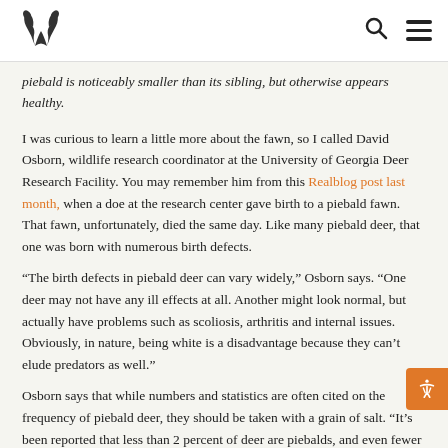[Realtree logo] [Search icon] [Menu icon]
piebald is noticeably smaller than its sibling, but otherwise appears healthy.
I was curious to learn a little more about the fawn, so I called David Osborn, wildlife research coordinator at the University of Georgia Deer Research Facility. You may remember him from this Realblog post last month, when a doe at the research center gave birth to a piebald fawn. That fawn, unfortunately, died the same day. Like many piebald deer, that one was born with numerous birth defects.
“The birth defects in piebald deer can vary widely,” Osborn says. “One deer may not have any ill effects at all. Another might look normal, but actually have problems such as scoliosis, arthritis and internal issues. Obviously, in nature, being white is a disadvantage because they can’t elude predators as well.”
Osborn says that while numbers and statistics are often cited on the frequency of piebald deer, they should be taken with a grain of salt. “It’s been reported that less than 2 percent of deer are piebalds, and even fewer than that are totally white,” he says. “But if piebald deer in a given area are protected or confined so that they can reproduce, the frequency of piebald genetics becomes more prominent.”